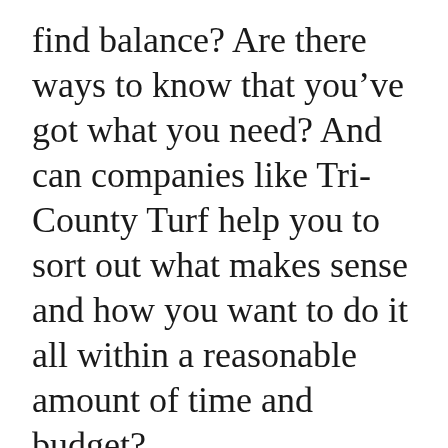find balance? Are there ways to know that you've got what you need? And can companies like Tri-County Turf help you to sort out what makes sense and how you want to do it all within a reasonable amount of time and budget?